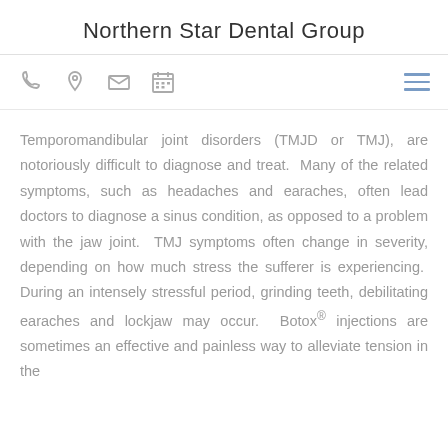Northern Star Dental Group
[Figure (other): Navigation bar with phone, location, mail, calendar icons on the left and a hamburger menu icon on the right]
Temporomandibular joint disorders (TMJD or TMJ), are notoriously difficult to diagnose and treat. Many of the related symptoms, such as headaches and earaches, often lead doctors to diagnose a sinus condition, as opposed to a problem with the jaw joint. TMJ symptoms often change in severity, depending on how much stress the sufferer is experiencing. During an intensely stressful period, grinding teeth, debilitating earaches and lockjaw may occur. Botox® injections are sometimes an effective and painless way to alleviate tension in the